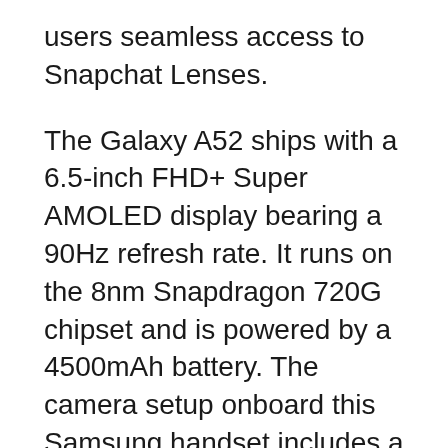users seamless access to Snapchat Lenses.
The Galaxy A52 ships with a 6.5-inch FHD+ Super AMOLED display bearing a 90Hz refresh rate. It runs on the 8nm Snapdragon 720G chipset and is powered by a 4500mAh battery. The camera setup onboard this Samsung handset includes a 64MP main camera, a 12MP ultra wide-angle camera, and a couple of 5MP sensors for macro and portrait photography.
The Galaxy A52 5G offers a 120Hz